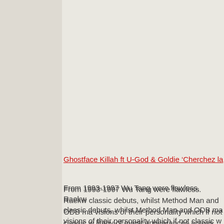Ghostface Killah ft U-God & Goldie 'Cherchez la
From 1993-1997 Wu Tang were flawless. Raekwo classic debuts, whilst Method Man and ODB mar visions of their personality which if not classic we litany of guest appearances across albums from five only one managed to deliver on their sophom Ghostface.
Supreme Clientele is the greatest non debut Wu probably say it was the best solo joint full stop. R Ghostface's patented gibberish and this record, a stay grimy. U-God putting a ruff rider on his dick a